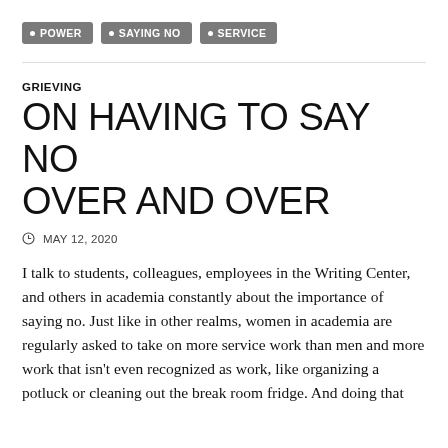POWER
SAYING NO
SERVICE
GRIEVING
ON HAVING TO SAY NO OVER AND OVER
MAY 12, 2020
I talk to students, colleagues, employees in the Writing Center, and others in academia constantly about the importance of saying no. Just like in other realms, women in academia are regularly asked to take on more service work than men and more work that isn't even recognized as work, like organizing a potluck or cleaning out the break room fridge. And doing that